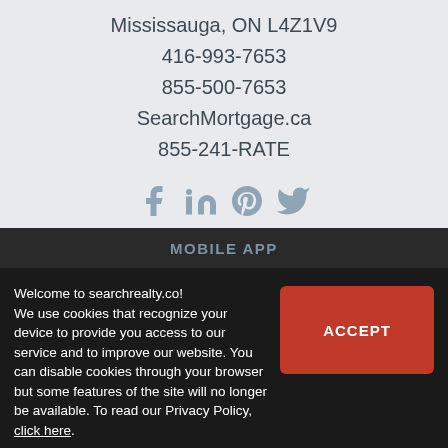Mississauga, ON L4Z1V9
416-993-7653
855-500-7653
SearchMortgage.ca
855-241-RATE
[Figure (other): Social media icons: Facebook, LinkedIn, Pinterest, Twitter]
Menu
SEARCH HOMES
MY NOTEBOOK
CONTACT
MORTGAGE
Welcome to searchrealty.co! We use cookies that recognize your device to provide you access to our service and to improve our website. You can disable cookies through your browser but some features of the site will no longer be available. To read our Privacy Policy, click here.
ACCEPT